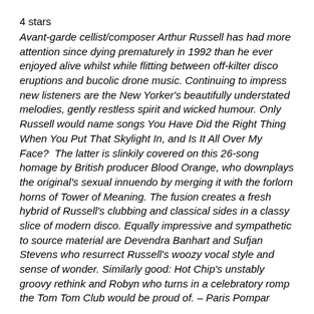4 stars
Avant-garde cellist/composer Arthur Russell has had more attention since dying prematurely in 1992 than he ever enjoyed alive whilst while flitting between off-kilter disco eruptions and bucolic drone music. Continuing to impress new listeners are the New Yorker's beautifully understated melodies, gently restless spirit and wicked humour. Only Russell would name songs You Have Did the Right Thing When You Put That Skylight In, and Is It All Over My Face?  The latter is slinkily covered on this 26-song homage by British producer Blood Orange, who downplays the original's sexual innuendo by merging it with the forlorn horns of Tower of Meaning. The fusion creates a fresh hybrid of Russell's clubbing and classical sides in a classy slice of modern disco. Equally impressive and sympathetic to source material are Devendra Banhart and Sufjan Stevens who resurrect Russell's woozy vocal style and sense of wonder. Similarly good: Hot Chip's unstably groovy rethink and Robyn who turns in a celebratory romp the Tom Tom Club would be proud of. – Paris Pompar